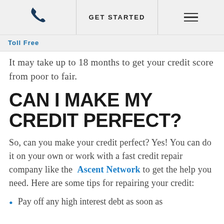Toll Free | GET STARTED | [menu]
It may take up to 18 months to get your credit score from poor to fair.
CAN I MAKE MY CREDIT PERFECT?
So, can you make your credit perfect? Yes! You can do it on your own or work with a fast credit repair company like the Ascent Network to get the help you need. Here are some tips for repairing your credit:
Pay off any high interest debt as soon as